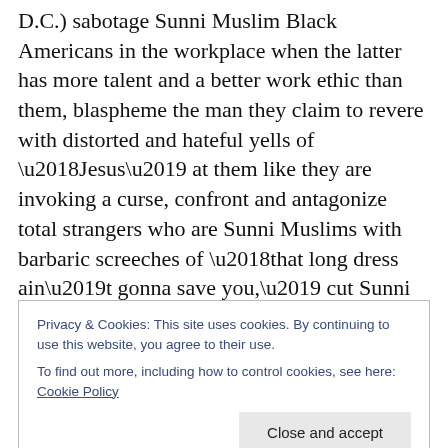D.C.) sabotage Sunni Muslim Black Americans in the workplace when the latter has more talent and a better work ethic than them, blaspheme the man they claim to revere with distorted and hateful yells of ‘Jesus’ at them like they are invoking a curse, confront and antagonize total strangers who are Sunni Muslims with barbaric screeches of ‘that long dress ain’t gonna save you,’ cut Sunni Muslims off or attempt to run them off the road on 295 S and Route 1 between Prince George’s and Howard County, 175, Snowden River Parkway (Howard County), poke them in the arm, grabbing them (white “Christian”
Privacy & Cookies: This site uses cookies. By continuing to use this website, you agree to their use.
To find out more, including how to control cookies, see here: Cookie Policy
Close and accept